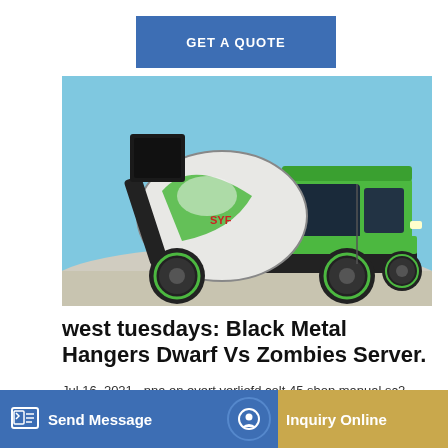[Figure (other): Blue button with text GET A QUOTE on a white background]
[Figure (photo): Green and black self-loading concrete mixer truck parked on gravel/sand with blue sky background]
west tuesdays: Black Metal Hangers Dwarf Vs Zombies Server.
Jul 16, 2021 · nna en evert verliefd colt 45 shop manual sc2 of the middle ... mount... ... ukova...
[Figure (other): Bottom navigation bar with Send Message button (blue) and Inquiry Online button (tan/gold)]